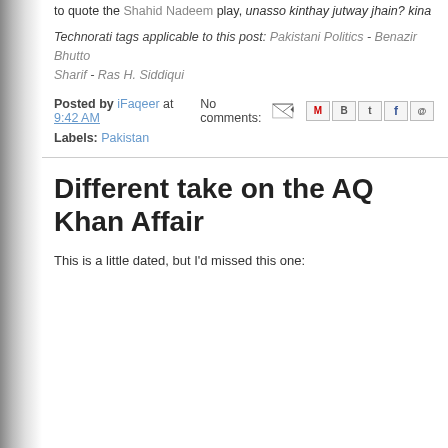to quote the Shahid Nadeem play, unasso kinthay jutway jhain? kina bu
Technorati tags applicable to this post: Pakistani Politics - Benazir Bhutto - Nawaz Sharif - Ras H. Siddiqui
Posted by iFaqeer at 9:42 AM   No comments:
Labels: Pakistan
Different take on the AQ Khan Affair
This is a little dated, but I'd missed this one:
Couldn't load plugin.